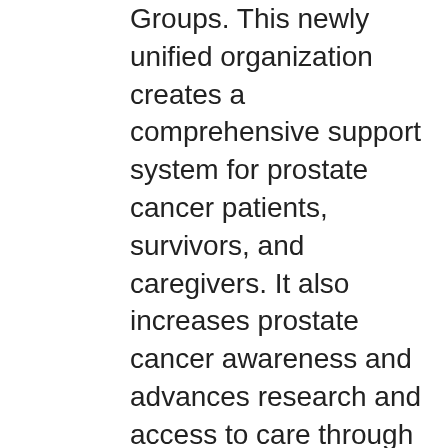Groups. This newly unified organization creates a comprehensive support system for prostate cancer patients, survivors, and caregivers. It also increases prostate cancer awareness and advances research and access to care through a united advocacy platform. The need is urgent to directly address the increase of emotional, financial, and physical challenges caused by COVID-19 to those who are already in a health crisis fighting prostate cancer.

In addition, serving as a single educational resource will help reach more patients and communities on important issues including ever-